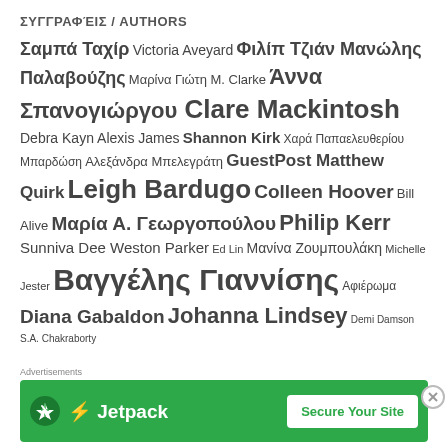ΣΥΓΓΡΑΦΕΙΣ / AUTHORS
Σαμπά Ταχίρ Victoria Aveyard Φιλίπ Τζιάν Μανώλης Παλαβούζης Μαρίνα Γιώτη M. Clarke Άννα Σπανογιώργου Clare Mackintosh Debra Kayn Alexis James Shannon Kirk Χαρά Παπαελευθερίου Μπαρδώση Αλεξάνδρα Μπελεγράτη GuestPost Matthew Quirk Leigh Bardugo Colleen Hoover Bill Alive Μαρία Α. Γεωργοπούλου Philip Kerr Sunniva Dee Weston Parker Ed Lin Μανίνα Ζουμπουλάκη Michelle Jester Βαγγέλης Γιαννίσης Αφιέρωμα Diana Gabaldon Johanna Lindsey Demi Damson S.A. Chakraborty
[Figure (other): Jetpack advertisement banner with green background, lightning bolt icon, brand name Jetpack, and 'Secure Your Site' call-to-action button]